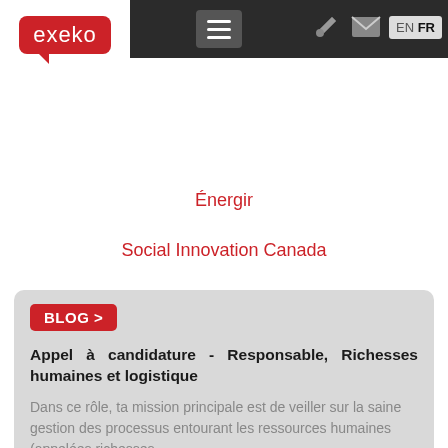[Figure (logo): Exeko logo — white text 'exeko' on red rounded rectangle with speech bubble tail, on white background within dark navigation bar]
Navigation bar with hamburger menu, tool icon, mail icon, and EN/FR language switcher
Énergir
Social Innovation Canada
BLOG >
Appel à candidature - Responsable, Richesses humaines et logistique
Dans ce rôle, ta mission principale est de veiller sur la saine gestion des processus entourant les ressources humaines (appelées richesses...